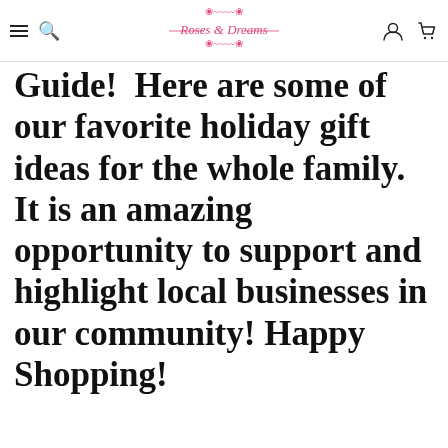Roses & Dreams [navigation header with hamburger menu, search, account, and cart icons]
Guide!  Here are some of our favorite holiday gift ideas for the whole family. It is an amazing opportunity to support and highlight local businesses in our community! Happy Shopping!